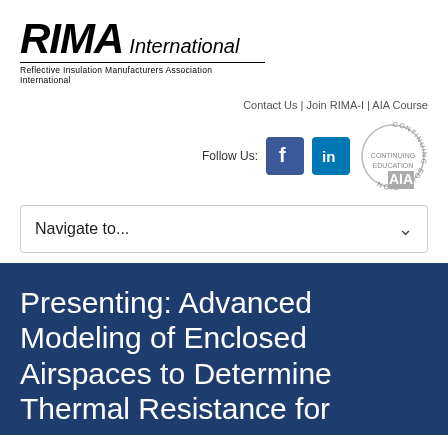[Figure (logo): RIMA International logo - Reflective Insulation Manufacturers Association International]
Contact Us | Join RIMA-I | AIA Course
Follow Us: [Facebook icon] [LinkedIn icon] [AIA Continuing Education badge]
Navigate to...
Presenting: Advanced Modeling of Enclosed Airspaces to Determine Thermal Resistance for